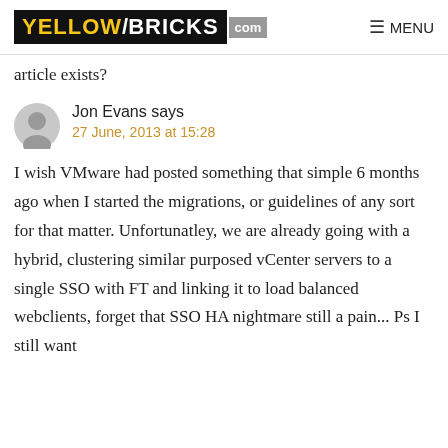YELLOW/BRICKS .com MENU
article exists?
Jon Evans says
27 June, 2013 at 15:28
I wish VMware had posted something that simple 6 months ago when I started the migrations, or guidelines of any sort for that matter. Unfortunatley, we are already going with a hybrid, clustering similar purposed vCenter servers to a single SSO with FT and linking it to load balanced webclients, forget that SSO HA nightmare still a pain... Ps I still want